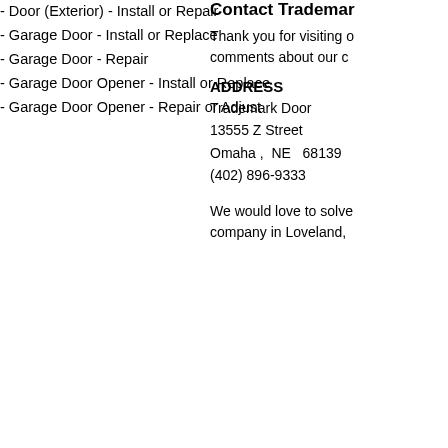- Door (Exterior) - Install or Repair
- Garage Door - Install or Replace
- Garage Door - Repair
- Garage Door Opener - Install or Replace
- Garage Door Opener - Repair or Adjust
Contact Trademark
Thank you for visiting our comments about our c
ADDRESS
Trademark Door
13555 Z Street
Omaha ,  NE   68139
(402) 896-9333
We would love to solve company in Loveland,